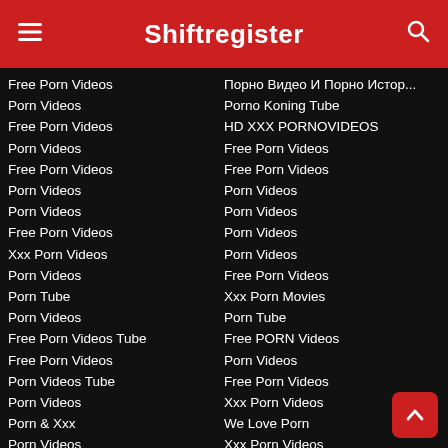Shiftregister
Free Porn Videos
Porn Videos
Free Porn Videos
Porn Videos
Free Porn Videos
Porn Videos
Porn Videos
Free Porn Videos
Xxx Porn Videos
Porn Videos
Porn Tube
Porn Videos
Free Porn Videos Tube
Free Porn Videos
Porn Videos Tube
Porn Videos
Porn & Xxx
Porn Videos
Porn Videos
Free Porn Videos
Порно Видео И Порно Истор...
Porno Koning Tube
HD XXX PORNOVIDEOS
Free Porn Videos
Free Porn Videos
Porn Videos
Porn Videos
Porn Videos
Porn Videos
Free Porn Videos
Xxx Porn Movies
Porn Tube
Free PORN Videos
Porn Videos
Free Porn Videos
Xxx Porn Videos
We Love Porn
Xxx Porn Videos
Porn Videos
Shemale Porn